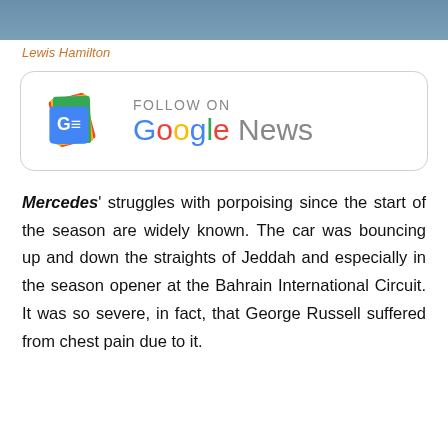[Figure (photo): Partial photo strip at top of page showing Lewis Hamilton]
Lewis Hamilton
[Figure (logo): Follow on Google News badge with Google News logo and colorful newspaper icon]
Mercedes' struggles with porpoising since the start of the season are widely known. The car was bouncing up and down the straights of Jeddah and especially in the season opener at the Bahrain International Circuit. It was so severe, in fact, that George Russell suffered from chest pain due to it.